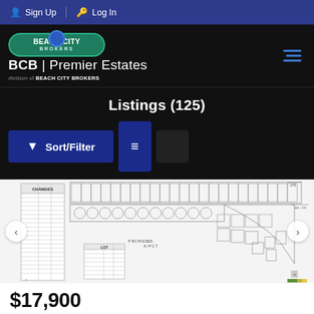Sign Up | Log In
[Figure (logo): Beach City Brokers logo with BCB Premier Estates branding, division of Beach City Brokers]
Listings (125)
[Figure (screenshot): Sort/Filter button and list view toggle buttons]
[Figure (engineering-diagram): Property plat/survey map showing subdivision lots layout with tables of lot data]
$17,900